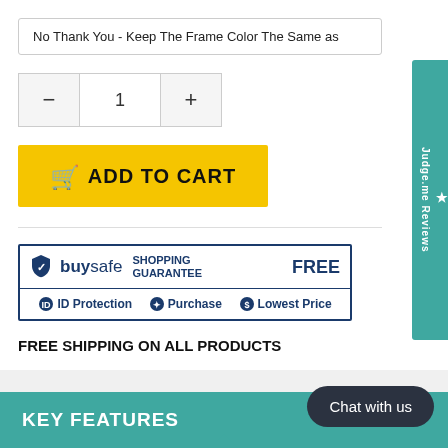No Thank You - Keep The Frame Color The Same as
1
[Figure (screenshot): Add to Cart button — yellow background with shopping cart icon and bold text ADD TO CART]
[Figure (logo): BuySafe Shopping Guarantee badge — FREE, ID Protection, Purchase, Lowest Price]
FREE SHIPPING ON ALL PRODUCTS
★ Judge.me Reviews
KEY FEATURES
Chat with us